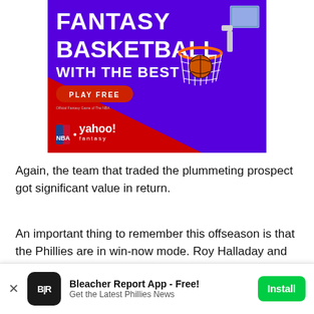[Figure (illustration): Fantasy Basketball with the Best advertisement banner featuring NBA and Yahoo Fantasy logos, a basketball hoop image, and a red 'PLAY FREE' button on a purple background with red diagonal accent.]
Again, the team that traded the plummeting prospect got significant value in return.
An important thing to remember this offseason is that the Phillies are in win-now mode. Roy Halladay and Cliff Lee are in their mid-30s. Beyond them and Chase Utley...
[Figure (screenshot): Bleacher Report App install banner at bottom of screen. Shows BR logo, 'Bleacher Report App - Free!' title, 'Get the Latest Phillies News' subtitle, and a green 'Install' button. Has an X close button on the left.]